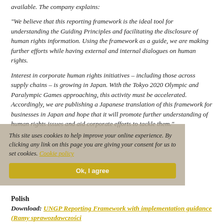available. The company explains:
“We believe that this reporting framework is the ideal tool for understanding the Guiding Principles and facilitating the disclosure of human rights information. Using the framework as a guide, we are making further efforts while having external and internal dialogues on human rights.
Interest in corporate human rights initiatives – including those across supply chains – is growing in Japan. With the Tokyo 2020 Olympic and Paralympic Games approaching, this activity must be accelerated. Accordingly, we are publishing a Japanese translation of this framework for businesses in Japan and hope that it will promote further understanding of human rights issues and aid corporate efforts to tackle them.”
This site uses cookies to help improve your online experience. By clicking any link on this page you are giving your consent for us to set cookies. Cookie policy
Polish
Download: UNGP Reporting Framework with implementation guidance (Ramy sprawozdawczości